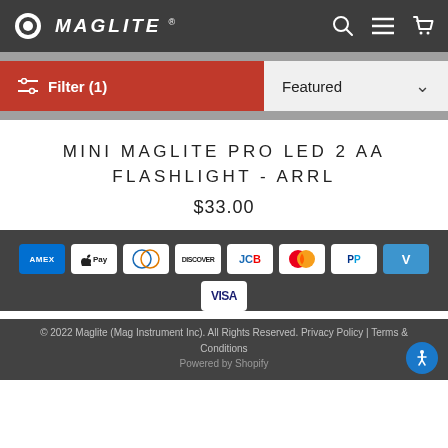MAGLITE
[Figure (screenshot): Filter (1) button in red and Featured sort dropdown]
MINI MAGLITE PRO LED 2 AA FLASHLIGHT - ARRL
$33.00
[Figure (infographic): Payment method icons: Amex, Apple Pay, Diners Club, Discover, JCB, Mastercard, PayPal, Venmo, Visa]
© 2022 Maglite (Mag Instrument Inc). All Rights Reserved. Privacy Policy | Terms & Conditions
Powered by Shopify